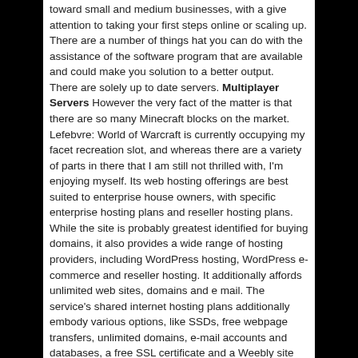toward small and medium businesses, with a give attention to taking your first steps online or scaling up. There are a number of things hat you can do with the assistance of the software program that are available and could make you solution to a better output.
There are solely up to date servers. Multiplayer Servers However the very fact of the matter is that there are so many Minecraft blocks on the market. Lefebvre: World of Warcraft is currently occupying my facet recreation slot, and whereas there are a variety of parts in there that I am still not thrilled with, I'm enjoying myself. Its web hosting offerings are best suited to enterprise house owners, with specific enterprise hosting plans and reseller hosting plans. While the site is probably greatest identified for buying domains, it also provides a wide range of hosting providers, including WordPress hosting, WordPress e-commerce and reseller hosting. It additionally affords unlimited web sites, domains and e mail. The service's shared internet hosting plans additionally embody various options, like SSDs, free webpage transfers, unlimited domains, e-mail accounts and databases, a free SSL certificate and a Weebly site builder. What's the distinction between web hosting and web building services? WP Engine Website hosting has an A BBB rating. BBB score, however just a handful of reviews on TrustPilot.